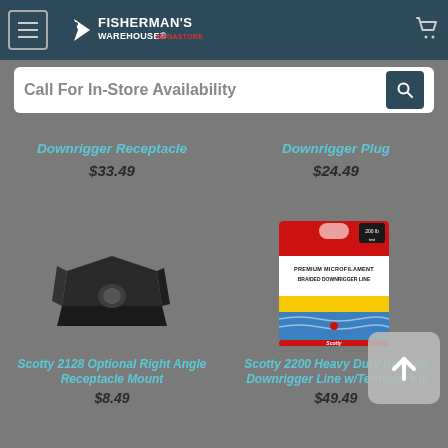Fisherman's Warehouse
Call For In-Store Availability
Downrigger Receptacle
$33.49
Downrigger Plug
$24.49
[Figure (photo): Black plastic right-angle receptacle mount bracket]
Scotty 2128 Optional Right Angle Receptacle Mount
$8.49
[Figure (photo): Scotty 2200 braided downrigger line product box with red and yellow packaging]
Scotty 2200 Heavy Duty Braided Downrigger Line w/Terminal Kit
$49.49